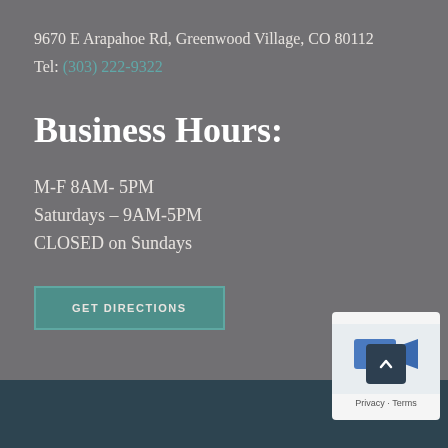9670 E Arapahoe Rd, Greenwood Village, CO 80112
Tel: (303) 222-9322
Business Hours:
M-F 8AM- 5PM
Saturdays – 9AM-5PM
CLOSED on Sundays
GET DIRECTIONS
[Figure (other): Small widget overlay with blue icon and Privacy/Terms footer text]